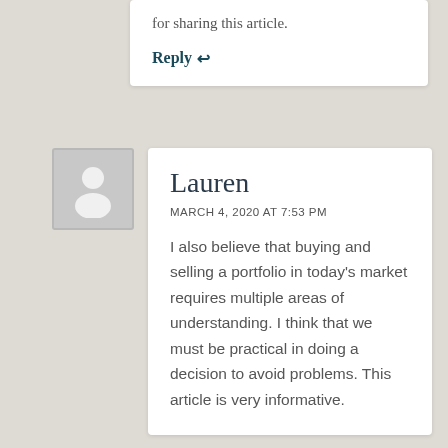for sharing this article.
Reply ↩
[Figure (illustration): Default user avatar placeholder — grey square with a white silhouette person icon]
Lauren
MARCH 4, 2020 AT 7:53 PM
I also believe that buying and selling a portfolio in today's market requires multiple areas of understanding. I think that we must be practical in doing a decision to avoid problems. This article is very informative.